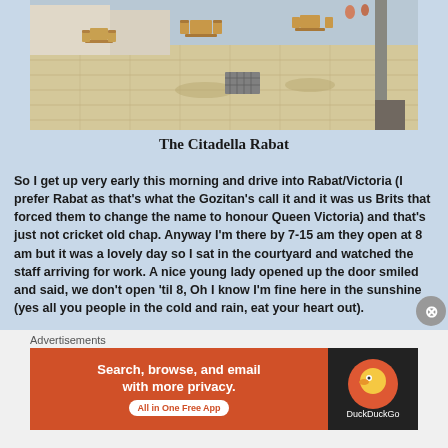[Figure (photo): Outdoor courtyard/plaza with wooden chairs and tables on stone paving, sunny day, The Citadella Rabat, Gozo]
The Citadella Rabat
So I get up very early this morning and drive into Rabat/Victoria (I prefer Rabat as that's what the Gozitan's call it and it was us Brits that forced them to change the name to honour Queen Victoria) and that's just not cricket old chap. Anyway I'm there by 7-15 am they open at 8 am but it was a lovely day so I sat in the courtyard and watched the staff arriving for work. A nice young lady opened up the door smiled and said, we don't open 'til 8, Oh I know I'm fine here in the sunshine (yes all you people in the cold and rain, eat your heart out).
Advertisements
[Figure (screenshot): DuckDuckGo advertisement banner: Search, browse, and email with more privacy. All in One Free App. DuckDuckGo logo on dark background.]